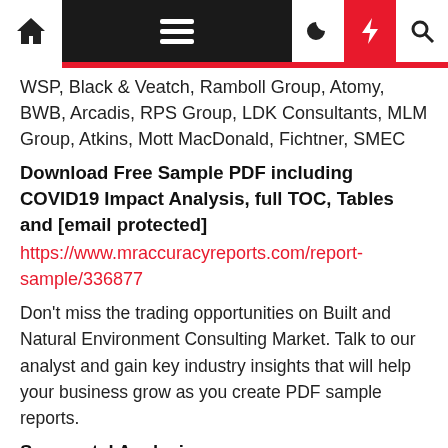WSP, Black & Veatch, Ramboll Group, Atomy, BWB, Arcadis, RPS Group, LDK Consultants, MLM Group, Atkins, Mott MacDonald, Fichtner, SMEC
Download Free Sample PDF including COVID19 Impact Analysis, full TOC, Tables and [email protected]
https://www.mraccuracyreports.com/report-sample/336877
Don't miss the trading opportunities on Built and Natural Environment Consulting Market. Talk to our analyst and gain key industry insights that will help your business grow as you create PDF sample reports.
Segmental Analysis:
The report has classified the global Built and Natural Environment Consulting Market and...